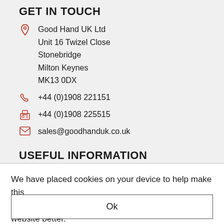GET IN TOUCH
Good Hand UK Ltd
Unit 16 Twizel Close
Stonebridge
Milton Keynes
MK13 0DX
+44 (0)1908 221151
+44 (0)1908 225515
sales@goodhanduk.co.uk
USEFUL INFORMATION
About Us
We have placed cookies on your device to help make this website better.
Ok